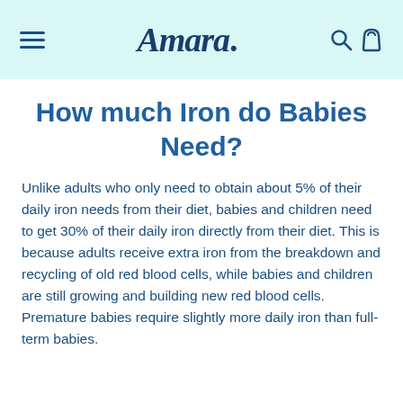Amara.
How much Iron do Babies Need?
Unlike adults who only need to obtain about 5% of their daily iron needs from their diet, babies and children need to get 30% of their daily iron directly from their diet. This is because adults receive extra iron from the breakdown and recycling of old red blood cells, while babies and children are still growing and building new red blood cells. Premature babies require slightly more daily iron than full-term babies.